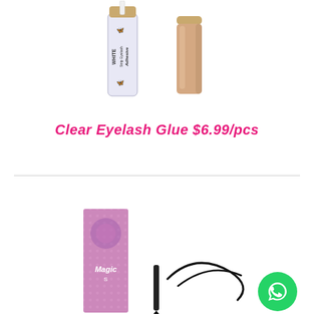[Figure (photo): Two eyelash glue products: a clear tube labeled 'Strip Eyelash Adhesive WHITE' with a white applicator brush, and a nude/beige colored tube with a gold cap]
Clear Eyelash Glue $6.99/pcs
[Figure (photo): Bottom section showing eyelash makeup products: a pink sparkly 'Magic' branded eyeliner box, a black eyeliner pen with swirl marks, and partially visible third product, with WhatsApp icon badge in bottom right corner]